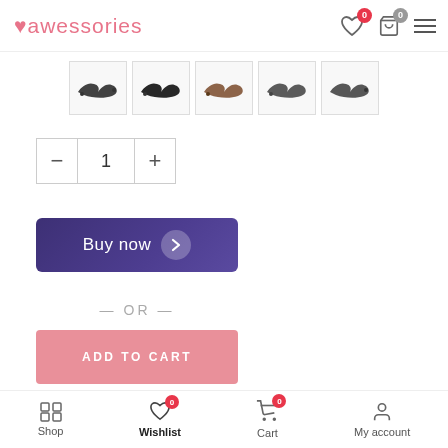awessories — header with wishlist, cart, and menu icons
[Figure (photo): Row of 5 product thumbnail images showing hair accessories/bows in various colors]
- 1 +
Buy now
— OR —
ADD TO CART
Add to wishlist
Shop   Wishlist 0   Cart 0   My account